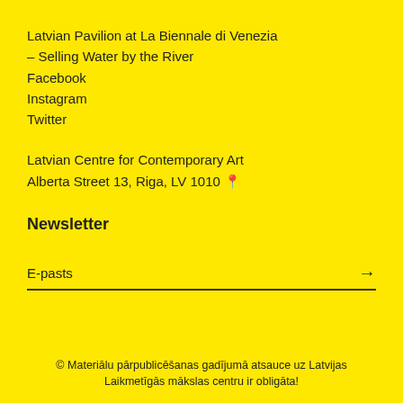Latvian Pavilion at La Biennale di Venezia – Selling Water by the River
Facebook
Instagram
Twitter
Latvian Centre for Contemporary Art
Alberta Street 13, Riga, LV 1010 📍
Newsletter
E-pasts →
© Materiālu pārpublicēšanas gadījumā atsauce uz Latvijas Laikmetīgās mākslas centru ir obligāta!